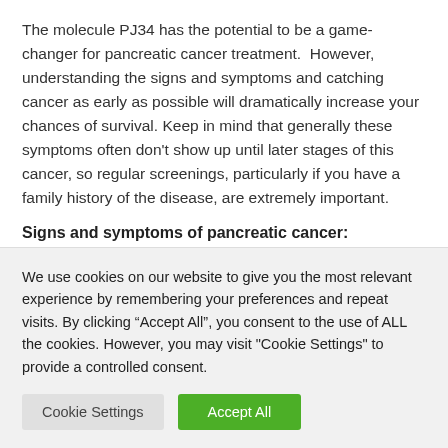The molecule PJ34 has the potential to be a game-changer for pancreatic cancer treatment.  However, understanding the signs and symptoms and catching cancer as early as possible will dramatically increase your chances of survival. Keep in mind that generally these symptoms often don't show up until later stages of this cancer, so regular screenings, particularly if you have a family history of the disease, are extremely important.
Signs and symptoms of pancreatic cancer:
Pain in the upper abdomen that radiates to your back
Loss of appetite or unintended weight loss
We use cookies on our website to give you the most relevant experience by remembering your preferences and repeat visits. By clicking “Accept All”, you consent to the use of ALL the cookies. However, you may visit "Cookie Settings" to provide a controlled consent.